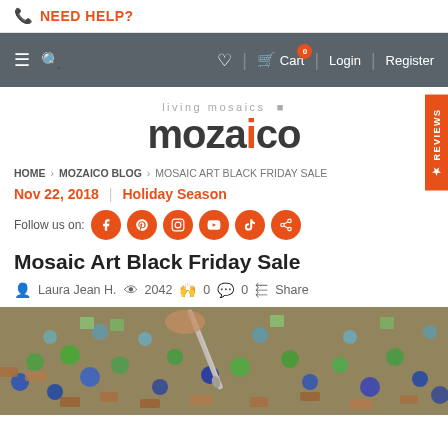NEED HELP?
Cart | Login | Register
[Figure (logo): Living mosaics mozaico logo with orange accent dot]
HOME > MOZAICO BLOG > MOSAIC ART BLACK FRIDAY SALE
Nov 22, 2018 | Holiday Season
Follow us on: [social icons: Facebook, Pinterest, Instagram, YouTube, TikTok, Share]
Mosaic Art Black Friday Sale
Laura Jean H.  2042  0  0  Share
[Figure (photo): Close-up photo of colorful mosaic tiles being assembled with a tool, showing blue, green, and terracotta tiles]